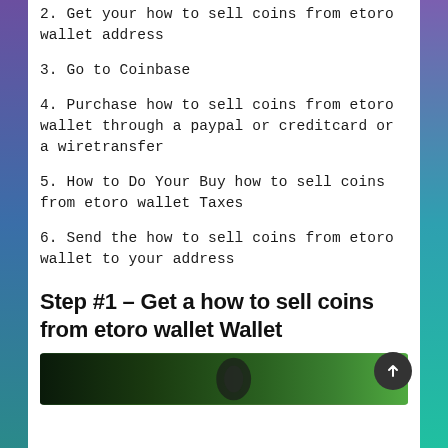2. Get your how to sell coins from etoro wallet address
3. Go to Coinbase
4. Purchase how to sell coins from etoro wallet through a paypal or creditcard or a wiretransfer
5. How to Do Your Buy how to sell coins from etoro wallet Taxes
6. Send the how to sell coins from etoro wallet to your address
Step #1 – Get a how to sell coins from etoro wallet Wallet
[Figure (photo): Dark green gradient image at bottom of page, partially visible]